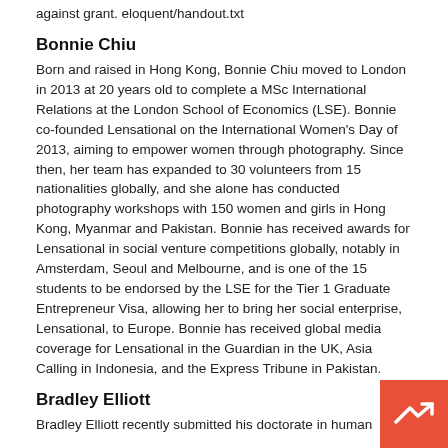against grant. eloquent/handout.txt
Bonnie Chiu
Born and raised in Hong Kong, Bonnie Chiu moved to London in 2013 at 20 years old to complete a MSc International Relations at the London School of Economics (LSE). Bonnie co-founded Lensational on the International Women's Day of 2013, aiming to empower women through photography. Since then, her team has expanded to 30 volunteers from 15 nationalities globally, and she alone has conducted photography workshops with 150 women and girls in Hong Kong, Myanmar and Pakistan. Bonnie has received awards for Lensational in social venture competitions globally, notably in Amsterdam, Seoul and Melbourne, and is one of the 15 students to be endorsed by the LSE for the Tier 1 Graduate Entrepreneur Visa, allowing her to bring her social enterprise, Lensational, to Europe. Bonnie has received global media coverage for Lensational in the Guardian in the UK, Asia Calling in Indonesia, and the Express Tribune in Pakistan.
Bradley Elliott
Bradley Elliott recently submitted his doctorate in human